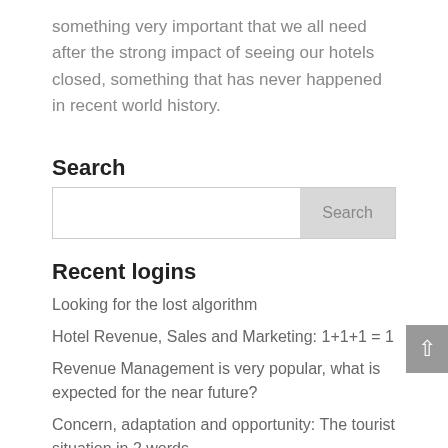something very important that we all need after the strong impact of seeing our hotels closed, something that has never happened in recent world history.
Search
[Figure (screenshot): Search input box with a Search button on the right]
Recent logins
Looking for the lost algorithm
Hotel Revenue, Sales and Marketing: 1+1+1 = 1
Revenue Management is very popular, what is expected for the near future?
Concern, adaptation and opportunity: The tourist situation in 2 words